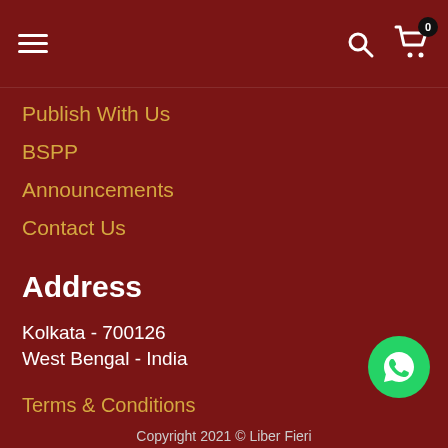Navigation header with hamburger menu, search icon, and cart icon with badge 0
Publish With Us
BSPP
Announcements
Contact Us
Address
Kolkata - 700126
West Bengal - India
Terms & Conditions
[Figure (logo): WhatsApp button - green circular button with WhatsApp logo]
Copyright 2021 © Liber Fieri